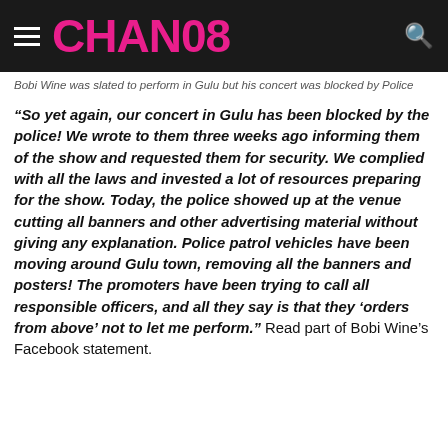CHAN08
Bobi Wine was slated to perform in Gulu but his concert was blocked by Police
“So yet again, our concert in Gulu has been blocked by the police! We wrote to them three weeks ago informing them of the show and requested them for security. We complied with all the laws and invested a lot of resources preparing for the show. Today, the police showed up at the venue cutting all banners and other advertising material without giving any explanation. Police patrol vehicles have been moving around Gulu town, removing all the banners and posters! The promoters have been trying to call all responsible officers, and all they say is that they ‘orders from above’ not to let me perform.” Read part of Bobi Wine’s Facebook statement.